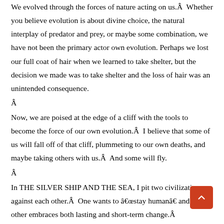We evolved through the forces of nature acting on us.Â  Whether you believe evolution is about divine choice, the natural interplay of predator and prey, or maybe some combination, we have not been the primary actor own evolution. Perhaps we lost our full coat of hair when we learned to take shelter, but the decision we made was to take shelter and the loss of hair was an unintended consequence.
Â
Now, we are poised at the edge of a cliff with the tools to become the force of our own evolution.Â  I believe that some of us will fall off of that cliff, plummeting to our own deaths, and maybe taking others with us.Â  And some will fly.
Â
In THE SILVER SHIP AND THE SEA, I pit two civilizations against each other.Â  One wants to â€œstay humanâ€ and the other embraces both lasting and short-term change.Â
Â